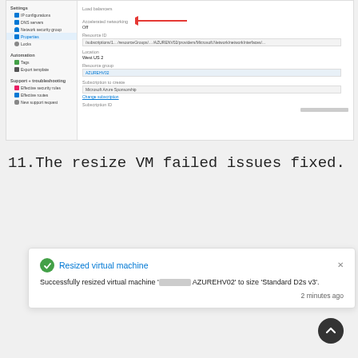[Figure (screenshot): Azure portal screenshot showing network interface settings panel. Left sidebar lists Settings (IP configurations, DNS servers, Network security group, Properties, Locks) and Automation (Tags, Export template) and Support + troubleshooting (Effective security rules, Effective routes, New support request). Right panel shows fields: Load balancers (empty), Accelerated networking: Off (with red arrow pointing to it), Resource ID (long path), Location: West US 2, Resource group: AZUREHV02, Subscription to create: Microsoft Azure Sponsorship with Change subscription link, Subscription ID field at bottom.]
11.The resize VM failed issues fixed.
[Figure (screenshot): Azure portal success notification card: 'Resized virtual machine' with green checkmark. Body text: 'Successfully resized virtual machine [REDACTED] AZUREHV02' to size 'Standard D2s v3'.' Timestamp: '2 minutes ago'. Close (x) button top right.]